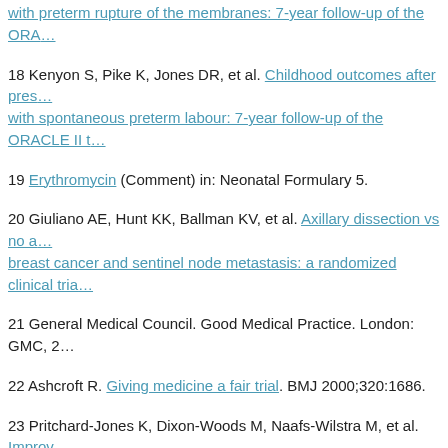with preterm rupture of the membranes: 7-year follow-up of the ORA…
18 Kenyon S, Pike K, Jones DR, et al. Childhood outcomes after pres… with spontaneous preterm labour: 7-year follow-up of the ORACLE II t…
19 Erythromycin (Comment) in: Neonatal Formulary 5.
20 Giuliano AE, Hunt KK, Ballman KV, et al. Axillary dissection vs no a… breast cancer and sentinel node metastasis: a randomized clinical tria…
21 General Medical Council. Good Medical Practice. London: GMC, 2…
22 Ashcroft R. Giving medicine a fair trial. BMJ 2000;320:1686.
23 Pritchard-Jones K, Dixon-Woods M, Naafs-Wilstra M, et al. Improv… childhood. Lancet Oncology 2008;9:392-9.
24 Equator network resource centre for good reporting of health resea…
25 Smithells RW. Iatrogenic hazards and their effects. Postgraduate M…